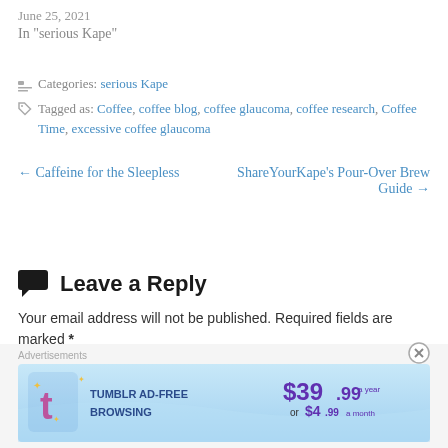June 25, 2021
In "serious Kape"
Categories: serious Kape
Tagged as: Coffee, coffee blog, coffee glaucoma, coffee research, Coffee Time, excessive coffee glaucoma
← Caffeine for the Sleepless
ShareYourKape's Pour-Over Brew Guide →
Leave a Reply
Your email address will not be published. Required fields are marked *
[Figure (infographic): Tumblr AD-FREE BROWSING advertisement banner: $39.99 a year or $4.99 a month]